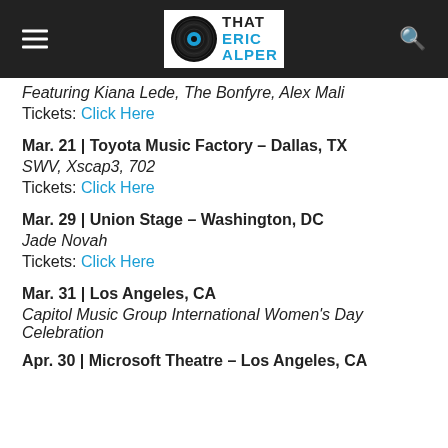That Eric Alper
Featuring Kiana Lede, The Bonfyre, Alex Mali
Tickets: Click Here
Mar. 21 | Toyota Music Factory – Dallas, TX
SWV, Xscap3, 702
Tickets: Click Here
Mar. 29 | Union Stage – Washington, DC
Jade Novah
Tickets: Click Here
Mar. 31 | Los Angeles, CA
Capitol Music Group International Women's Day Celebration
Apr. 30 | Microsoft Theatre – Los Angeles, CA